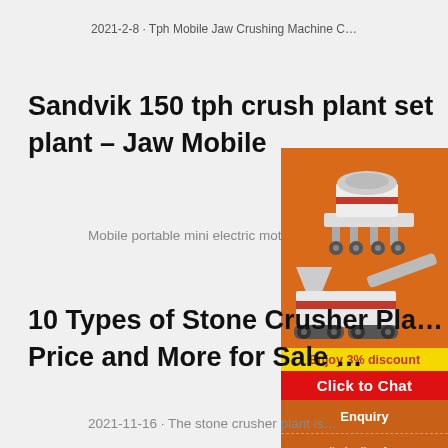2021-2-8 · Tph Mobile Jaw Crushing Machine C…
Sandvik 150 tph crush plant set plant – Jaw Mobile
Mobile portable mini electric motor used 2…
[Figure (photo): Orange advertisement panel showing multiple stone crushing machines (jaw crusher, cone crusher, mobile crusher), with 'Enjoy 3% discount', 'Click to Chat', 'Enquiry', and 'limingjlmofen@sina.com' sections.]
10 Types of Stone Crusher Pla… Price and More for Sale …
2021-11-16 · The stone crusher plant is…